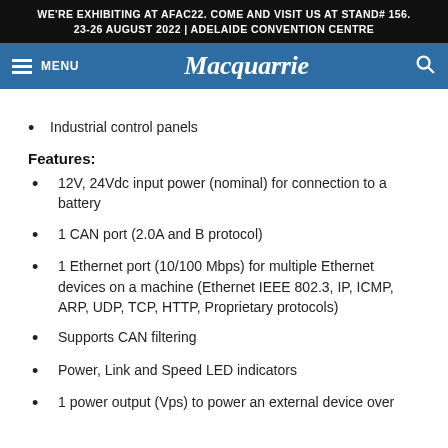WE'RE EXHIBITING AT AFAC22. COME AND VISIT US AT STAND# 156. 23-26 AUGUST 2022 | ADELAIDE CONVENTION CENTRE
Macquarrie
Industrial control panels
Features:
12V, 24Vdc input power (nominal) for connection to a battery
1 CAN port (2.0A and B protocol)
1 Ethernet port (10/100 Mbps) for multiple Ethernet devices on a machine (Ethernet IEEE 802.3, IP, ICMP, ARP, UDP, TCP, HTTP, Proprietary protocols)
Supports CAN filtering
Power, Link and Speed LED indicators
1 power output (Vps) to power an external device over